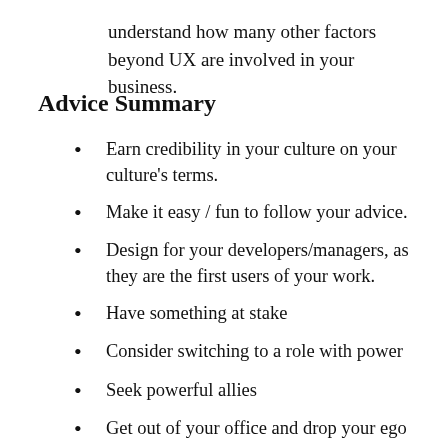understand how many other factors beyond UX are involved in your business.
Advice Summary
Earn credibility in your culture on your culture's terms.
Make it easy / fun to follow your advice.
Design for your developers/managers, as they are the first users of your work.
Have something at stake
Consider switching to a role with power
Seek powerful allies
Get out of your office and drop your ego